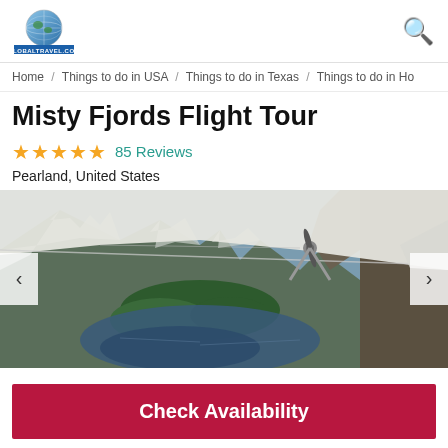[Figure (logo): GlobalTravel.com logo with globe graphic and blue text bar]
Home / Things to do in USA / Things to do in Texas / Things to do in Ho
Misty Fjords Flight Tour
★★★★★ 85 Reviews
Pearland, United States
[Figure (photo): Aerial view from a small plane over a fjord with mountains, snow, and a lake surrounded by forest]
Check Availability